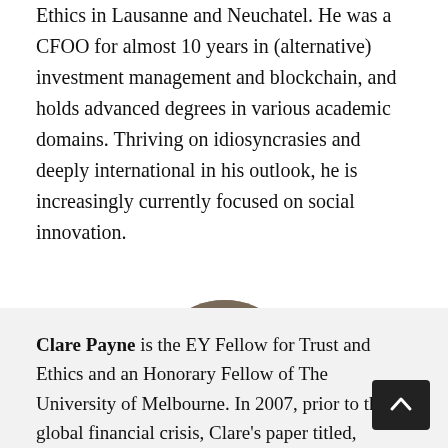Ethics in Lausanne and Neuchatel. He was a CFOO for almost 10 years in (alternative) investment management and blockchain, and holds advanced degrees in various academic domains. Thriving on idiosyncrasies and deeply international in his outlook, he is increasingly currently focused on social innovation.
[Figure (photo): Circular headshot photo of a middle-aged man with short blonde/grey hair, wearing a dark suit, photographed against a blurred indoor background.]
Clare Payne is the EY Fellow for Trust and Ethics and an Honorary Fellow of The University of Melbourne. In 2007, prior to the global financial crisis, Clare's paper titled,